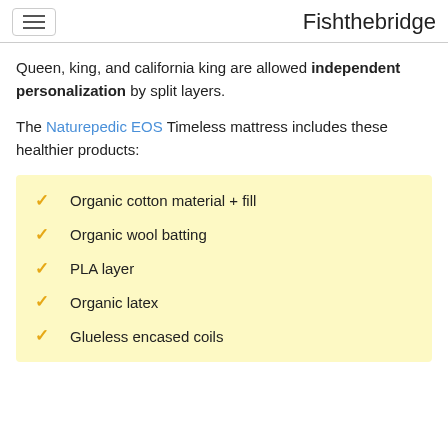Fishthebridge
Queen, king, and california king are allowed independent personalization by split layers.
The Naturepedic EOS Timeless mattress includes these healthier products:
Organic cotton material + fill
Organic wool batting
PLA layer
Organic latex
Glueless encased coils